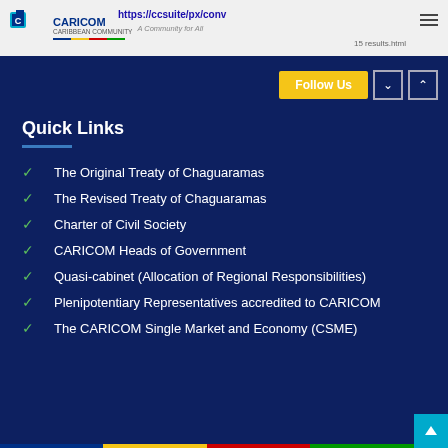CARICOM Caribbean Community — A Community for All — https://ccsuite/px/conv — 15 results.html
Quick Links
The Original Treaty of Chaguaramas
The Revised Treaty of Chaguaramas
Charter of Civil Society
CARICOM Heads of Government
Quasi-cabinet (Allocation of Regional Responsibilities)
Plenipotentiary Representatives accredited to CARICOM
The CARICOM Single Market and Economy (CSME)